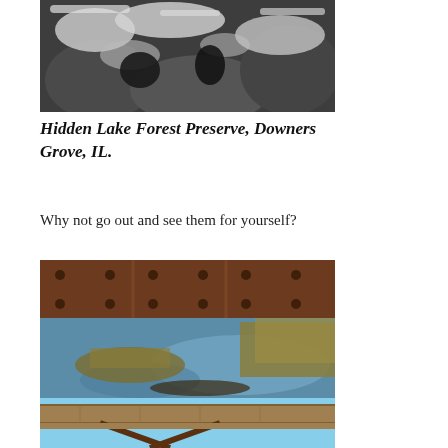[Figure (photo): Close-up photo of icy or frost-covered rocks/bark, dark and light tones, winter nature scene.]
Hidden Lake Forest Preserve, Downers Grove, IL.
Why not go out and see them for yourself?
[Figure (photo): View through a rusty riveted iron bridge railing over a wetland with calm blue water, marsh grasses, and a wooden boardwalk visible in the foreground.]